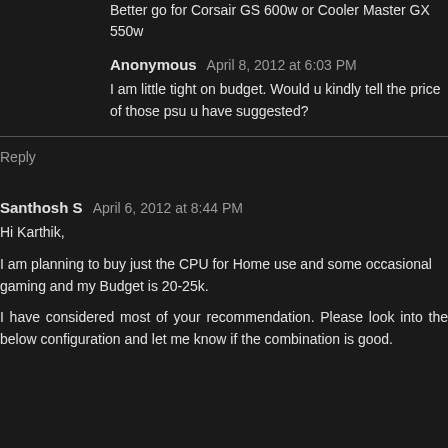Better go for Corsair GS 600w or Cooler Master GX 550w
Anonymous  April 8, 2012 at 6:03 PM
I am little tight on budget. Would u kindly tell the price of those psu u have suggested?
Reply
Santhosh S  April 6, 2012 at 8:44 PM
Hi Karthik,
I am planning to buy just the CPU for Home use and some occasional gaming and my Budget is 20-25k.
I have considered most of your recommendation. Please look into the below configuration and let me know if the combination is good.